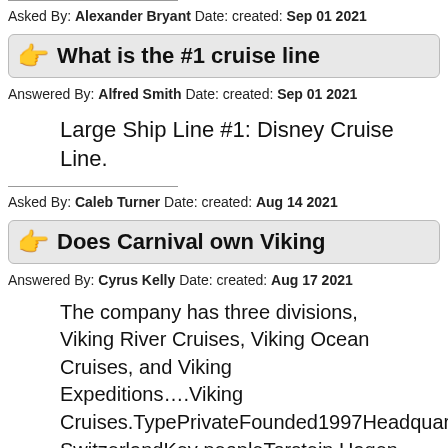Asked By: Alexander Bryant Date: created: Sep 01 2021
What is the #1 cruise line
Answered By: Alfred Smith Date: created: Sep 01 2021
Large Ship Line #1: Disney Cruise Line.
Asked By: Caleb Turner Date: created: Aug 14 2021
Does Carnival own Viking
Answered By: Cyrus Kelly Date: created: Aug 17 2021
The company has three divisions, Viking River Cruises, Viking Ocean Cruises, and Viking Expeditions….Viking Cruises.TypePrivateFounded1997HeadquartersSwitzerlandKey peopleTorstein Hagen, Founder, Chairman Karine Hagen,